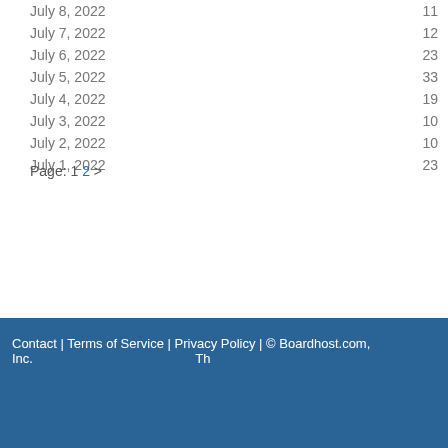July 8, 2022   11
July 7, 2022   12
July 6, 2022   23
July 5, 2022   33
July 4, 2022   19
July 3, 2022   10
July 2, 2022   10
July 1, 2022   23
Page: 1 2 >
Contact | Terms of Service | Privacy Policy | © Boardhost.com, Inc.   Th